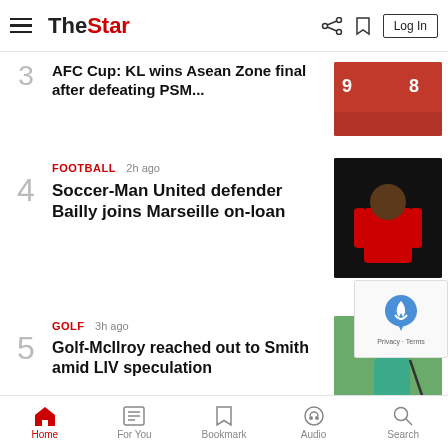The Star - Log In
3 AFC Cup: KL wins Asean Zone final after defeating PSM... 3h ago
4 FOOTBALL 2h ago Soccer-Man United defender Bailly joins Marseille on-loan
5 GOLF 3h ago Golf-McIlroy reached out to Smith amid LIV speculation
6 MOTORSPORT 1h ago
Home | For You | Bookmark | Audio | Search